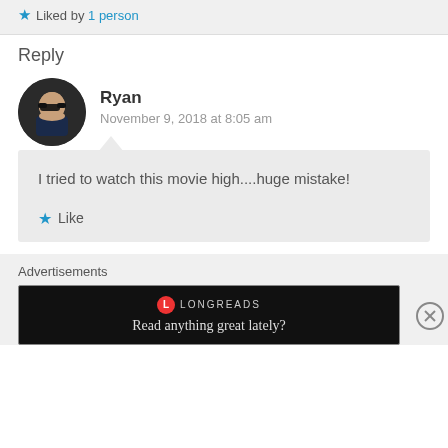★ Liked by 1 person
Reply
Ryan
November 9, 2018 at 8:05 am
I tried to watch this movie high....huge mistake!
Like
Advertisements
[Figure (screenshot): Longreads advertisement banner: dark background with Longreads logo and text 'Read anything great lately?']